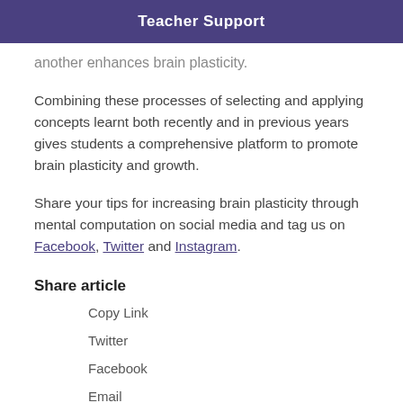Teacher Support
another enhances brain plasticity.
Combining these processes of selecting and applying concepts learnt both recently and in previous years gives students a comprehensive platform to promote brain plasticity and growth.
Share your tips for increasing brain plasticity through mental computation on social media and tag us on Facebook, Twitter and Instagram.
Share article
Copy Link
Twitter
Facebook
Email